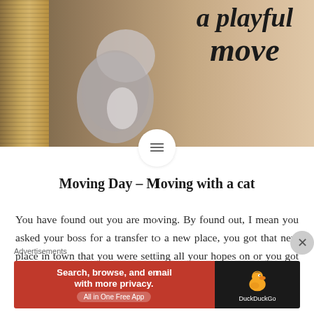[Figure (photo): Hero image showing a cat near a sisal scratching post with cursive text overlay reading 'a playful move' on a beige/warm background]
Moving Day – Moving with a cat
You have found out you are moving. By found out, I mean you asked your boss for a transfer to a new place, you got that new place in town that you were setting all your hopes on or you got a new job out of town and you are embracing
[Figure (advertisement): DuckDuckGo advertisement banner: orange/red left side with text 'Search, browse, and email with more privacy. All in One Free App' and dark right side with DuckDuckGo duck logo and brand name]